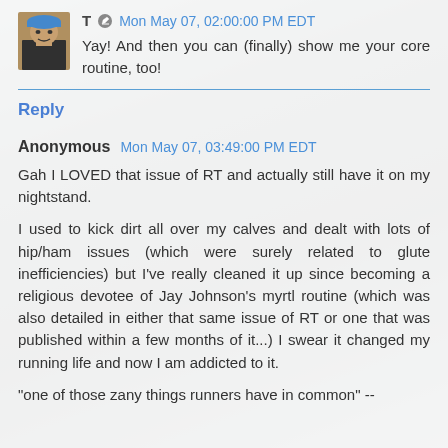[Figure (photo): Avatar photo of user T showing a person wearing a blue hard hat]
T ✏ Mon May 07, 02:00:00 PM EDT
Yay! And then you can (finally) show me your core routine, too!
Reply
Anonymous  Mon May 07, 03:49:00 PM EDT
Gah I LOVED that issue of RT and actually still have it on my nightstand.
I used to kick dirt all over my calves and dealt with lots of hip/ham issues (which were surely related to glute inefficiencies) but I've really cleaned it up since becoming a religious devotee of Jay Johnson's myrtl routine (which was also detailed in either that same issue of RT or one that was published within a few months of it...) I swear it changed my running life and now I am addicted to it.
"one of those zany things runners have in common" --